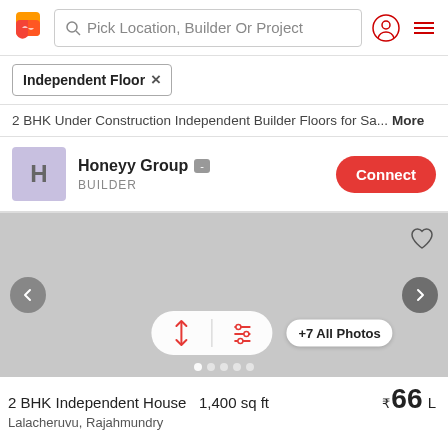Pick Location, Builder Or Project
Independent Floor ×
2 BHK Under Construction Independent Builder Floors for Sa... More
Honeyy Group - BUILDER Connect
[Figure (screenshot): Property listing image placeholder (grey) with navigation arrows, sort/filter pill, +7 All Photos button, heart icon, and dot indicators]
2 BHK Independent House  1,400 sq ft  ₹66 L
Lalacheruvu, Rajahmundry